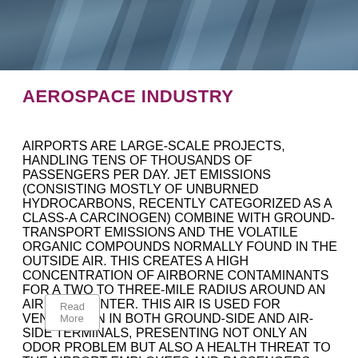[Figure (photo): Close-up photo of metallic aerospace surfaces (aircraft panels or engine blades) in blue-gray tones]
AEROSPACE INDUSTRY
AIRPORTS ARE LARGE-SCALE PROJECTS, HANDLING TENS OF THOUSANDS OF PASSENGERS PER DAY. JET EMISSIONS (CONSISTING MOSTLY OF UNBURNED HYDROCARBONS, RECENTLY CATEGORIZED AS A CLASS-A CARCINOGEN) COMBINE WITH GROUND-TRANSPORT EMISSIONS AND THE VOLATILE ORGANIC COMPOUNDS NORMALLY FOUND IN THE OUTSIDE AIR. THIS CREATES A HIGH CONCENTRATION OF AIRBORNE CONTAMINANTS FOR A TWO TO THREE-MILE RADIUS AROUND AN AIRPORT CENTER. THIS AIR IS USED FOR VENTILATION IN BOTH GROUND-SIDE AND AIR-SIDE TERMINALS, PRESENTING NOT ONLY AN ODOR PROBLEM BUT ALSO A HEALTH THREAT TO THE AIRPORT EMPLOYEES AND PASSENGERS.
Read More